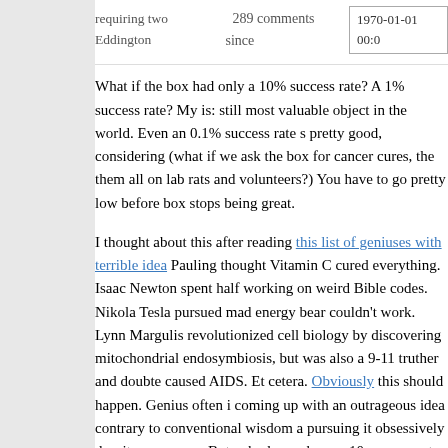requiring two Eddington   289 comments since   1970-01-01 00:0
What if the box had only a 10% success rate? A 1% success rate? My is: still most valuable object in the world. Even an 0.1% success rate s pretty good, considering (what if we ask the box for cancer cures, the them all on lab rats and volunteers?) You have to go pretty low before box stops being great.
I thought about this after reading this list of geniuses with terrible idea Pauling thought Vitamin C cured everything. Isaac Newton spent half working on weird Bible codes. Nikola Tesla pursued mad energy bear couldn't work. Lynn Margulis revolutionized cell biology by discovering mitochondrial endosymbiosis, but was also a 9-11 truther and doubte caused AIDS. Et cetera. Obviously this should happen. Genius often i coming up with an outrageous idea contrary to conventional wisdom a pursuing it obsessively despite naysayers. But nobody can have a 10 success rate. People who do this successfully sometimes should also it sometimes, just because they're the kind of person who attempts it. Not everyone fails. Einstein seems to have batted a perfect 1000 (unl count his support for socialism). But failure shouldn't surprise us.
Yet aren't some of these examples unforgivably bad? Like, seriou